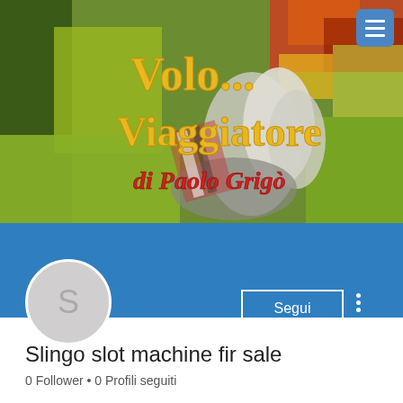[Figure (screenshot): Blog banner image showing a painting with colorful abstract background in greens, reds, and yellows. Text overlay reads 'Volo... Viaggiatore' in large yellow serif font and 'di Paolo Grigò' in red italic font. A hamburger menu button is in the top right corner.]
Segui
Slingo slot machine fir sale
0 Follower • 0 Profili seguiti